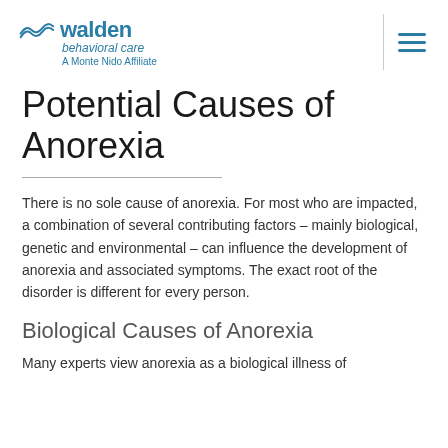walden behavioral care — A Monte Nido Affiliate
Potential Causes of Anorexia
There is no sole cause of anorexia. For most who are impacted, a combination of several contributing factors – mainly biological, genetic and environmental – can influence the development of anorexia and associated symptoms. The exact root of the disorder is different for every person.
Biological Causes of Anorexia
Many experts view anorexia as a biological illness of